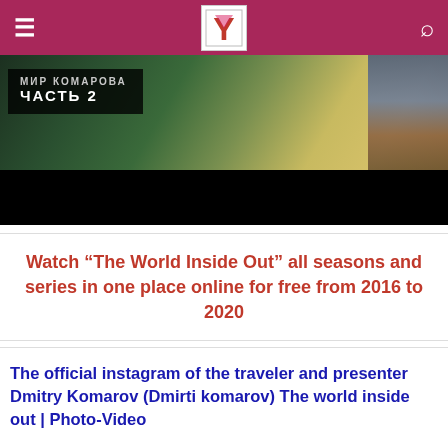Y [logo] ≡ [search icon]
[Figure (photo): Video thumbnail showing a person in yellow/beige clothing with a dark overlay text box reading 'МИР КОЛЛАРОВ ЧАСТЬ 2' on a dark background at bottom]
Watch “The World Inside Out” all seasons and series in one place online for free from 2016 to 2020
The official instagram of the traveler and presenter Dmitry Komarov (Dmirti komarov) The world inside out | Photo-Video